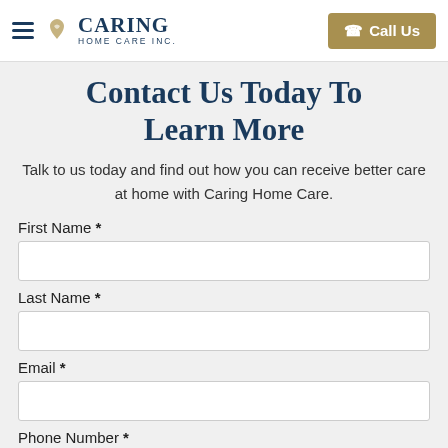Caring Home Care Inc. | Call Us
Contact Us Today To Learn More
Talk to us today and find out how you can receive better care at home with Caring Home Care.
First Name *
Last Name *
Email *
Phone Number *